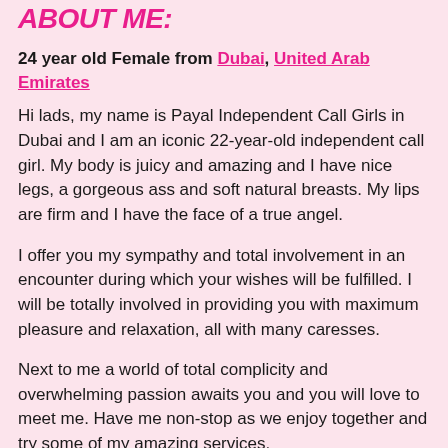ABOUT ME:
24 year old Female from Dubai, United Arab Emirates
Hi lads, my name is Payal Independent Call Girls in Dubai and I am an iconic 22-year-old independent call girl. My body is juicy and amazing and I have nice legs, a gorgeous ass and soft natural breasts. My lips are firm and I have the face of a true angel.
I offer you my sympathy and total involvement in an encounter during which your wishes will be fulfilled. I will be totally involved in providing you with maximum pleasure and relaxation, all with many caresses.
Next to me a world of total complicity and overwhelming passion awaits you and you will love to meet me. Have me non-stop as we enjoy together and try some of my amazing services.